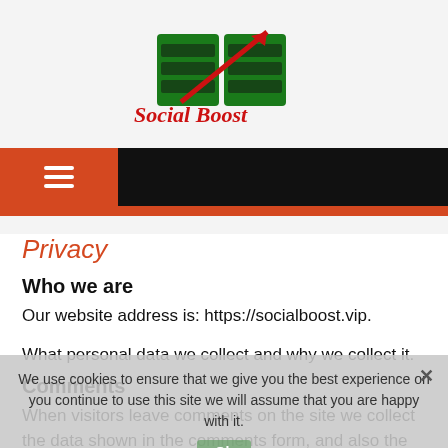[Figure (logo): Social Boost logo: green block letters 'SB' with a red diagonal arrow, and red italic cursive text 'Social Boost' below]
Navigation bar with hamburger menu icon (orange background) and black bar
Privacy
Who we are
Our website address is: https://socialboost.vip.
What personal data we collect and why we collect it.
Comments
When visitors leave comments on the site we collect the data shown in the comments form, and also the visitor's IP address and browser user agent string to
We use cookies to ensure that we give you the best experience on you continue to use this site we will assume that you are happy with it.